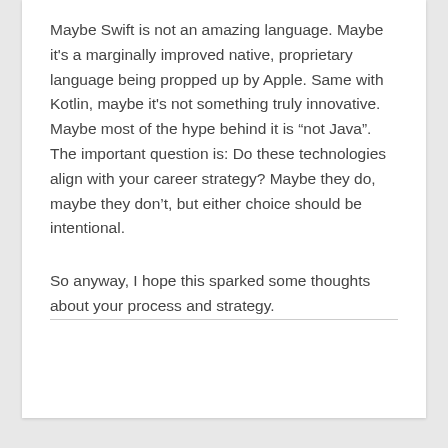Maybe Swift is not an amazing language. Maybe it's a marginally improved native, proprietary language being propped up by Apple. Same with Kotlin, maybe it's not something truly innovative. Maybe most of the hype behind it is “not Java”. The important question is: Do these technologies align with your career strategy? Maybe they do, maybe they don’t, but either choice should be intentional.
So anyway, I hope this sparked some thoughts about your process and strategy.